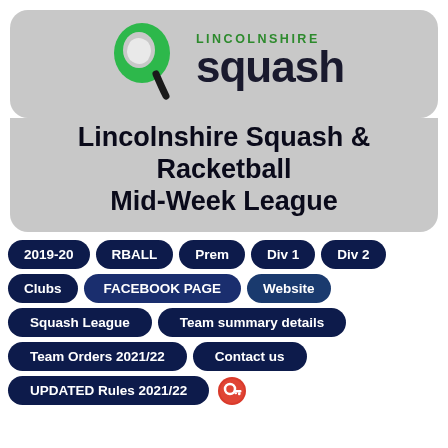[Figure (logo): Lincolnshire Squash logo: green teardrop/racket shape with 'LINCOLNSHIRE squash' text]
Lincolnshire Squash & Racketball Mid-Week League
2019-20
RBALL
Prem
Div 1
Div 2
Clubs
FACEBOOK PAGE
Website
Squash League
Team summary details
Team Orders 2021/22
Contact us
UPDATED Rules 2021/22